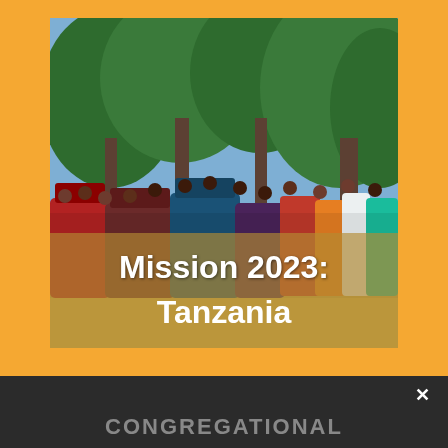[Figure (photo): A large group of people in colorful traditional and choir clothing standing in a semicircle on a grassy area outdoors, with tall trees behind them. Text overlay reads 'Mission 2023: Tanzania'.]
Mission 2023: Tanzania
Share This
CONGREGATIONAL